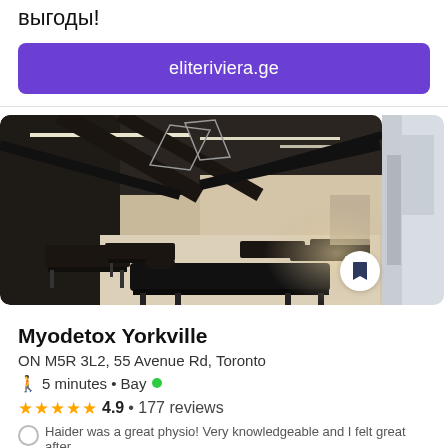выгоды!
eliteriviera.ge
[Figure (photo): Interior of Myodetox Yorkville physiotherapy clinic showing multiple black treatment/massage tables on light wood flooring, with dramatic black ceiling beams and warm accent lighting. A second partial photo of a bright modern interior is partially visible on the right edge.]
Myodetox Yorkville
ON M5R 3L2, 55 Avenue Rd, Toronto
🚶 5 minutes • Bay ●
★★★★★ 4.9 • 177 reviews
Haider was a great physio! Very knowledgeable and I felt great after